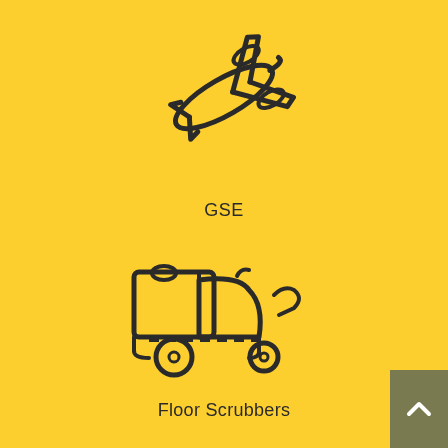[Figure (illustration): Line icon of an airplane (GSE - Ground Support Equipment) on yellow background]
GSE
[Figure (illustration): Line icon of a floor scrubber machine on yellow background]
Floor Scrubbers